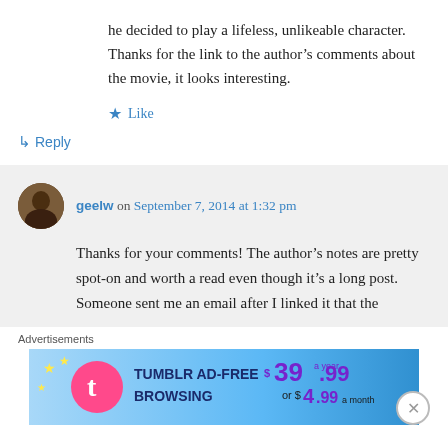he decided to play a lifeless, unlikeable character. Thanks for the link to the author’s comments about the movie, it looks interesting.
★ Like
↳ Reply
geelw on September 7, 2014 at 1:32 pm
Thanks for your comments! The author’s notes are pretty spot-on and worth a read even though it’s a long post. Someone sent me an email after I linked it that the
Advertisements
[Figure (infographic): Tumblr Ad-Free Browsing advertisement banner. Shows Tumblr logo, text 'TUMBLR AD-FREE BROWSING', price '$39.99 a year or $4.99 a month' on a blue gradient background with stars.]